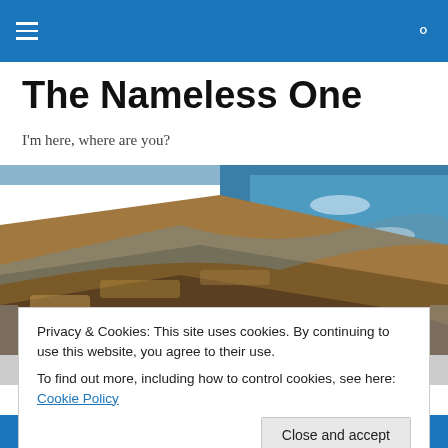Navigation bar with hamburger menu and search icon
The Nameless One
I'm here, where are you?
[Figure (photo): Rocky coastline with waves crashing against brown and grey rocks, blue-green ocean water on the right side]
Privacy & Cookies: This site uses cookies. By continuing to use this website, you agree to their use.
To find out more, including how to control cookies, see here: Cookie Policy
If you could return to the past to relive a part of your